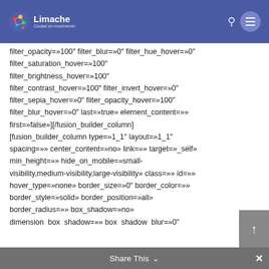Limache Ciudad en movimiento
filter_opacity=»100″ filter_blur=»0″ filter_hue_hover=»0″ filter_saturation_hover=»100″ filter_brightness_hover=»100″ filter_contrast_hover=»100″ filter_invert_hover=»0″ filter_sepia_hover=»0″ filter_opacity_hover=»100″ filter_blur_hover=»0″ last=»true» element_content=»» first=»false»][/fusion_builder_column] [fusion_builder_column type=»1_1″ layout=»1_1″ spacing=»» center_content=»no» link=»» target=»_self» min_height=»» hide_on_mobile=»small-visibility,medium-visibility,large-visibility» class=»» id=»» hover_type=»none» border_size=»0″ border_color=»» border_style=»solid» border_position=»all» border_radius=»» box_shadow=»no» dimension_box_shadow=»» box_shadow_blur=»0″ box_shadow_spread=»0″ box_shadow_color=»»
Share This